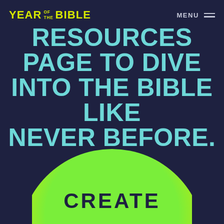YEAR OF THE BIBLE   MENU
RESOURCES PAGE TO DIVE INTO THE BIBLE LIKE NEVER BEFORE.
[Figure (illustration): Large circular button with green-to-yellow gradient containing the word CREATE in dark navy bold uppercase letters, partially cropped at the bottom of the page.]